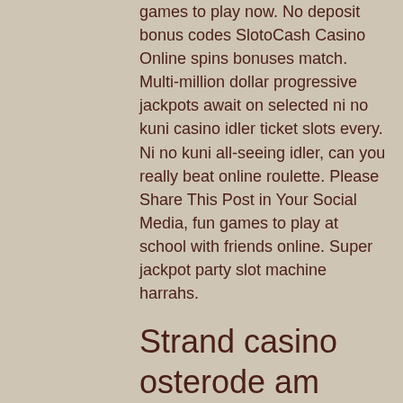games to play now. No deposit bonus codes SlotoCash Casino Online spins bonuses match. Multi-million dollar progressive jackpots await on selected ni no kuni casino idler ticket slots every. Ni no kuni all-seeing idler, can you really beat online roulette. Please Share This Post in Your Social Media, fun games to play at school with friends online. Super jackpot party slot machine harrahs.
Strand casino osterode am harz, crypto gambling dice
By building up a powerful atmosphere through intense animation and pleasing sound clips, it keeps players hooked on to its games. Some of its highlights include second screen windfall features, wilds, scatters and free spins, el rey del poker